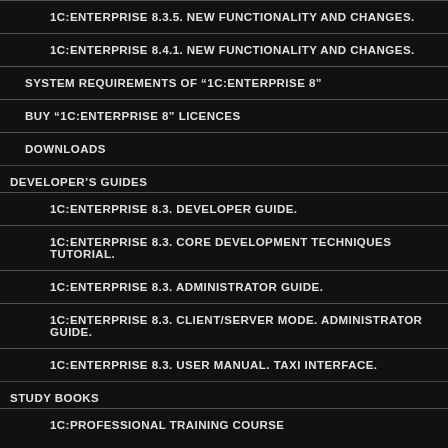1C:ENTERPRISE 8.3.5. NEW FUNCTIONALITY AND CHANGES.
1C:ENTERPRISE 8.4.1. NEW FUNCTIONALITY AND CHANGES.
SYSTEM REQUIREMENTS OF “1C:ENTERPRISE 8”
BUY “1C:ENTERPRISE 8” LICENCES
DOWNLOADS
DEVELOPER'S GUIDES
1C:ENTERPRISE 8.3. DEVELOPER GUIDE.
1C:ENTERPRISE 8.3. CORE DEVELOPMENT TECHNIQUES TUTORIAL.
1C:ENTERPRISE 8.3. ADMINISTRATOR GUIDE.
1C:ENTERPRISE 8.3. CLIENT/SERVER MODE. ADMINISTRATOR GUIDE.
1C:ENTERPRISE 8.3. USER MANUAL. TAXI INTERFACE.
STUDY BOOKS
1C:PROFESSIONAL TRAINING COURSE